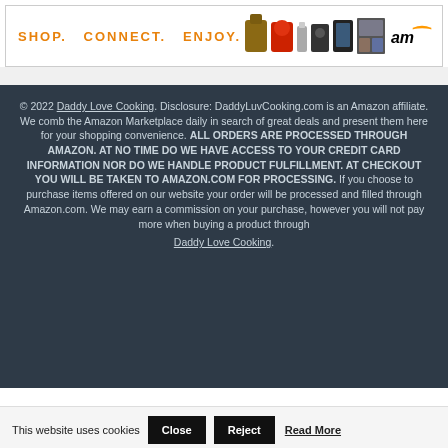[Figure (logo): Amazon affiliate banner with 'SHOP. CONNECT. ENJOY.' tagline, product images, and Amazon logo]
© 2022 Daddy Love Cooking. Disclosure: DaddyLuvCooking.com is an Amazon affiliate. We comb the Amazon Marketplace daily in search of great deals and present them here for your shopping convenience. ALL ORDERS ARE PROCESSED THROUGH AMAZON. AT NO TIME DO WE HAVE ACCESS TO YOUR CREDIT CARD INFORMATION NOR DO WE HANDLE PRODUCT FULFILLMENT. AT CHECKOUT YOU WILL BE TAKEN TO AMAZON.COM FOR PROCESSING. If you choose to purchase items offered on our website your order will be processed and filled through Amazon.com. We may earn a commission on your purchase, however you will not pay more when buying a product through Daddy Love Cooking.
This website uses cookies
Close
Reject
Read More